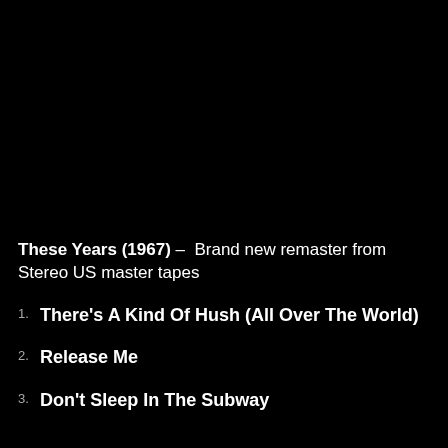These Years (1967) – Brand new remaster from Stereo US master tapes
There's A Kind Of Hush (All Over The World)
Release Me
Don't Sleep In The Subway